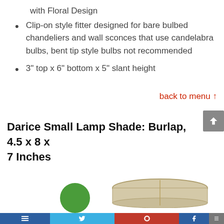with Floral Design
Clip-on style fitter designed for bare bulbed chandeliers and wall sconces that use candelabra bulbs, bent tip style bulbs not recommended
3" top x 6" bottom x 5" slant height
back to menu ↑
Darice Small Lamp Shade: Burlap, 4.5 x 8 x 7 Inches
[Figure (photo): Bottom portion of a burlap lamp shade visible, with a green circle element and a social sharing bar at the bottom of the page]